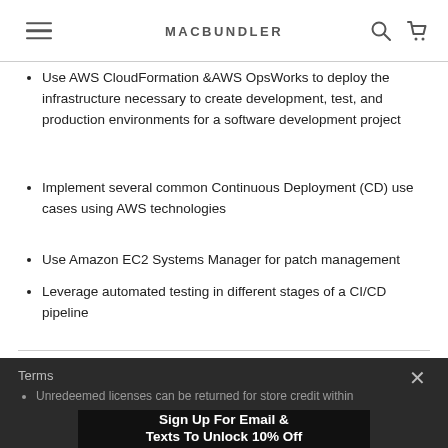MACBUNDLER
Use AWS CloudFormation &AWS OpsWorks to deploy the infrastructure necessary to create development, test, and production environments for a software development project
Implement several common Continuous Deployment (CD) use cases using AWS technologies
Use Amazon EC2 Systems Manager for patch management
Leverage automated testing in different stages of a CI/CD pipeline
Terms
Unredeemed licenses can be returned for store credit within
Sign Up For Email & Texts To Unlock 10% Off